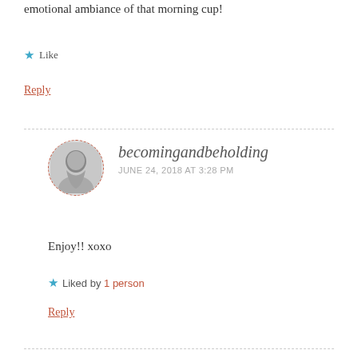emotional ambiance of that morning cup!
★ Like
Reply
becomingandbeholding
JUNE 24, 2018 AT 3:28 PM
Enjoy!! xoxo
★ Liked by 1 person
Reply